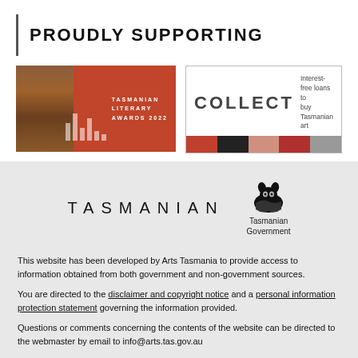PROUDLY SUPPORTING
[Figure (illustration): Tasmanian Literary Awards 2022 banner with dark red/orange background and white bar chart graphic]
[Figure (illustration): COLLECT banner - Interest-free loans to buy Tasmanian art, with colorful art image strip]
[Figure (logo): TASMANIAN wordmark and Tasmanian Government logo with Tassie devil icon]
This website has been developed by Arts Tasmania to provide access to information obtained from both government and non-government sources.
You are directed to the disclaimer and copyright notice and a personal information protection statement governing the information provided.
Questions or comments concerning the contents of the website can be directed to the webmaster by email to info@arts.tas.gov.au